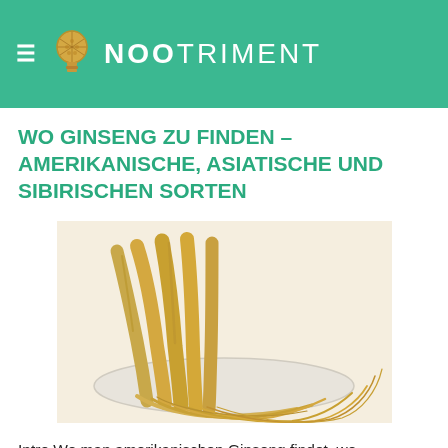≡ NOOTRIMENT
WO GINSENG ZU FINDEN – AMERIKANISCHE, ASIATISCHE UND SIBIRISCHEN SORTEN
[Figure (photo): Ginseng roots displayed on a white plate, showing long tan/golden root structures with fibrous tails on a light background]
Intro Wo man amerikanischen Ginseng findet, wo